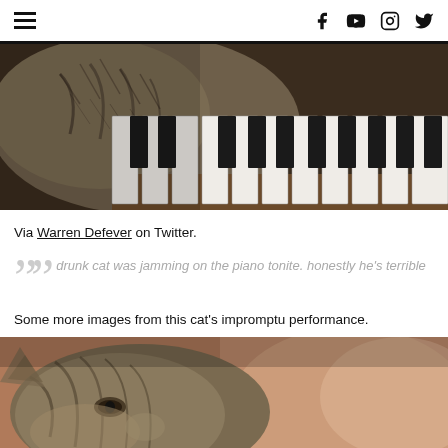Navigation and social icons: hamburger menu, Facebook, YouTube, Instagram, Twitter
[Figure (photo): Close-up photo of a tabby cat lying on piano keys, showing the piano keyboard with white and black keys and the cat's fur body]
Via Warren Defever on Twitter.
drunk cat was jamming on the piano tonite. honestly he's terrible
Some more images from this cat's impromptu performance.
[Figure (photo): Close-up photo of a tabby cat's face near piano keys, cat looking downward with piano keys visible in foreground]